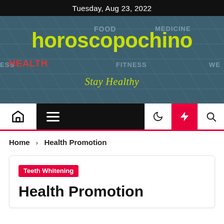Tuesday, Aug 23, 2022
[Figure (screenshot): horoscopochino website hero banner with health/medicine word cloud background, site title 'horoscopochino' in yellow-green, tagline 'Stay Healthy']
[Figure (screenshot): Website navigation bar with home icon, hamburger menu, moon icon, lightning bolt (red background), and search icon]
Home > Health Promotion
Teeth Whitening
Health Promotion